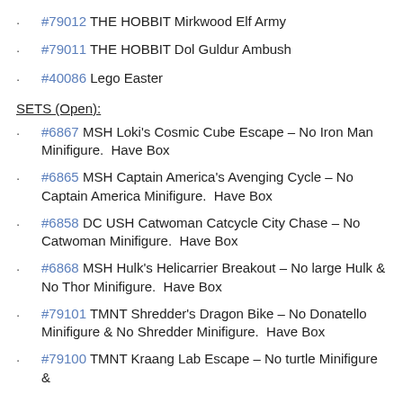#79012 THE HOBBIT Mirkwood Elf Army
#79011 THE HOBBIT Dol Guldur Ambush
#40086 Lego Easter
SETS (Open):
#6867 MSH Loki's Cosmic Cube Escape – No Iron Man Minifigure.  Have Box
#6865 MSH Captain America's Avenging Cycle – No Captain America Minifigure.  Have Box
#6858 DC USH Catwoman Catcycle City Chase – No Catwoman Minifigure.  Have Box
#6868 MSH Hulk's Helicarrier Breakout – No large Hulk & No Thor Minifigure.  Have Box
#79101 TMNT Shredder's Dragon Bike – No Donatello Minifigure & No Shredder Minifigure.  Have Box
#79100 TMNT Kraang Lab Escape – No turtle Minifigure &